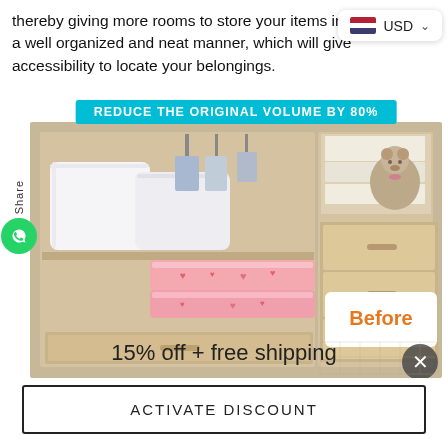thereby giving more rooms to store your items in a well organized and neat manner, which will give accessibility to locate your belongings.
[Figure (screenshot): Currency selector badge showing US flag and USD with dropdown arrow]
[Figure (photo): Wardrobe/closet with pillows, folded pink bedding, hanging clothes, teddy bear and wood drawers. Orange text label 'Before' in bottom right. Teal banner at top reads 'REDUCE THE ORIGINAL VOLUME BY 80%'. Share button and WhatsApp icon on left. Close (X) button bottom right.]
15% off + free shipping
ACTIVATE DISCOUNT